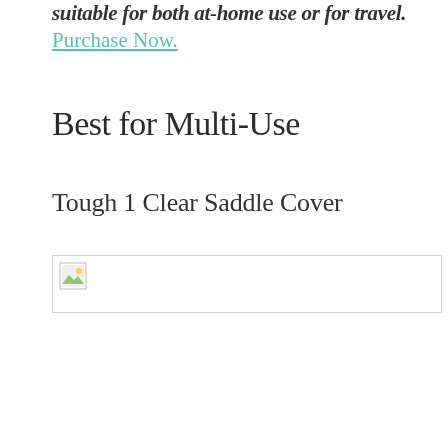suitable for both at-home use or for travel.
Purchase Now.
Best for Multi-Use
Tough 1 Clear Saddle Cover
[Figure (photo): Broken/missing image placeholder for Tough 1 Clear Saddle Cover product photo]